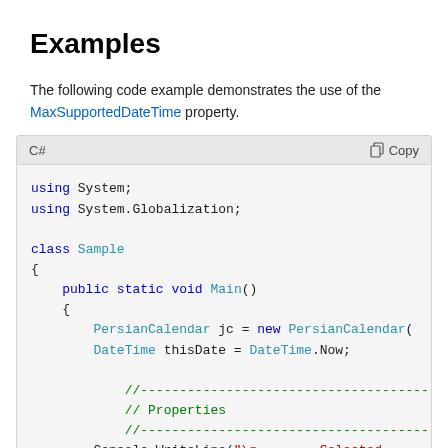Examples
The following code example demonstrates the use of the MaxSupportedDateTime property.
C# code block showing: using System; using System.Globalization; class Sample { public static void Main() { PersianCalendar jc = new PersianCalendar( DateTime thisDate = DateTime.Now; //---------------------------------------- // Properties //---------------------------------------- Console.WriteLine("\n Selected